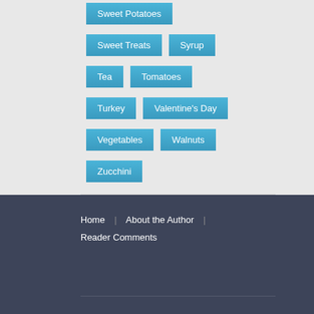Sweet Potatoes
Sweet Treats
Syrup
Tea
Tomatoes
Turkey
Valentine's Day
Vegetables
Walnuts
Zucchini
Home | About the Author | Reader Comments